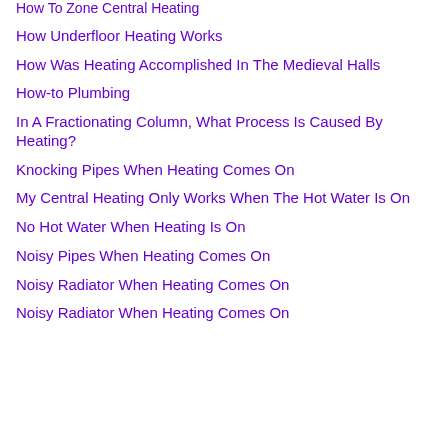How To Zone Central Heating
How Underfloor Heating Works
How Was Heating Accomplished In The Medieval Halls
How-to Plumbing
In A Fractionating Column, What Process Is Caused By Heating?
Knocking Pipes When Heating Comes On
My Central Heating Only Works When The Hot Water Is On
No Hot Water When Heating Is On
Noisy Pipes When Heating Comes On
Noisy Radiator When Heating Comes On
Noisy Radiator When Heating Comes On